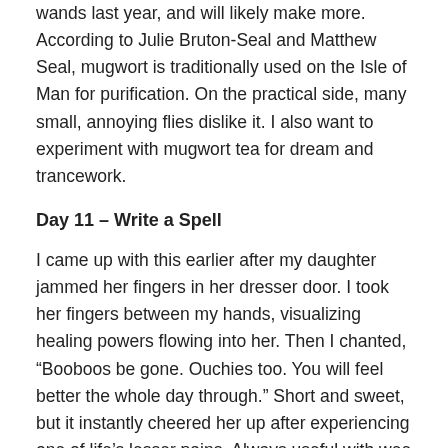wands last year, and will likely make more.  According to Julie Bruton-Seal and Matthew Seal, mugwort is traditionally used on the Isle of Man for purification.  On the practical side, many small, annoying flies dislike it.  I also want to experiment with mugwort tea for dream and trancework.
Day 11 – Write a Spell
I came up with this earlier after my daughter jammed her fingers in her dresser door.  I took her fingers between my hands, visualizing healing powers flowing into her.  Then I chanted, “Booboos be gone.  Ouchies too.  You will feel better the whole day through.”  Short and sweet, but it instantly cheered her up after experiencing one of life’s lesser pains.  Always useful with wee ones.
August 11, 2017